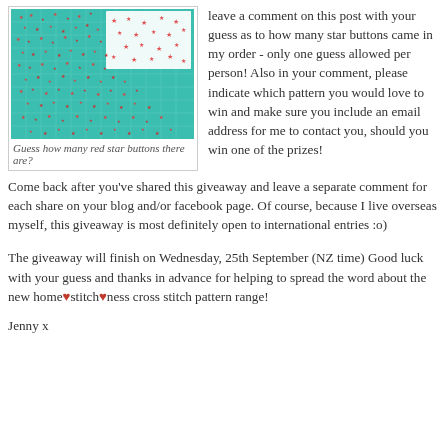[Figure (photo): Photo of many small red star-shaped buttons scattered on a teal/green cutting mat, with a white fabric piece with red star print in the upper right corner]
Guess how many red star buttons there are?
leave a comment on this post with your guess as to how many star buttons came in my order - only one guess allowed per person! Also in your comment, please indicate which pattern you would love to win and make sure you include an email address for me to contact you, should you win one of the prizes! Come back after you've shared this giveaway and leave a separate comment for each share on your blog and/or facebook page. Of course, because I live overseas myself, this giveaway is most definitely open to international entries :o)
The giveaway will finish on Wednesday, 25th September (NZ time) Good luck with your guess and thanks in advance for helping to spread the word about the new home♥stitch♥ness cross stitch pattern range!
Jenny x